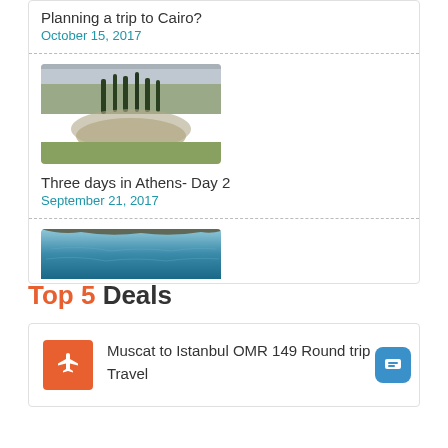Planning a trip to Cairo?
October 15, 2017
[Figure (photo): Ancient theater ruins in Athens with cypress trees and cityscape in background]
Three days in Athens- Day 2
September 21, 2017
[Figure (photo): Blue water/ocean scene, partially visible]
Top 5 Deals
Muscat to Istanbul OMR 149 Round trip Travel